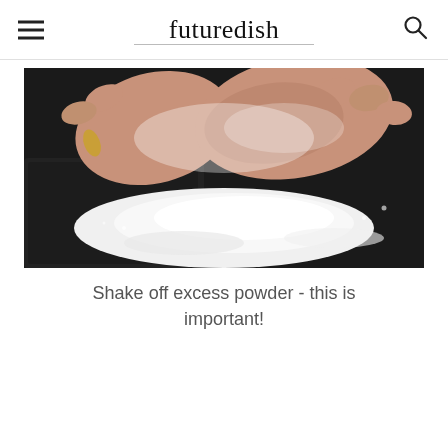futuredish
[Figure (photo): Hands pressing and shaking off white powder (flour) over a dark baking pan on a dark surface]
Shake off excess powder - this is important!